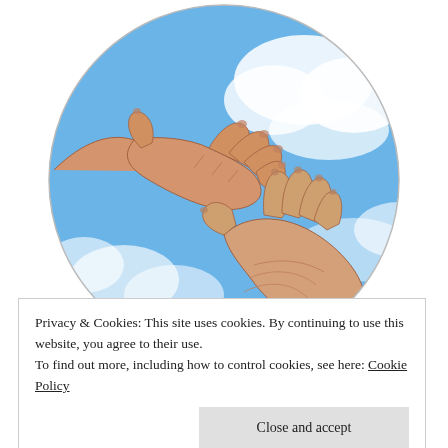[Figure (illustration): A circular illustration showing two hands reaching toward each other against a blue sky with white clouds background — one hand from upper left reaching down, one from lower right reaching up, reminiscent of a helping-hands motif.]
Privacy & Cookies: This site uses cookies. By continuing to use this website, you agree to their use.
To find out more, including how to control cookies, see here: Cookie Policy
Build a writing